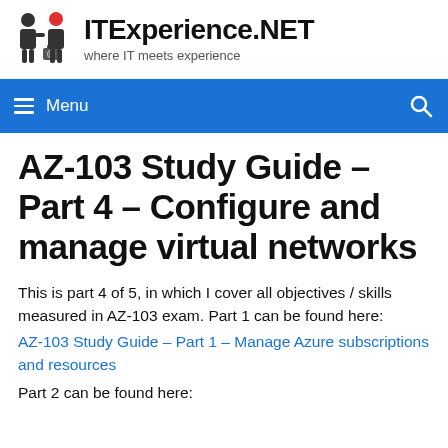ITExperience.NET — where IT meets experience
AZ-103 Study Guide – Part 4 – Configure and manage virtual networks
This is part 4 of 5, in which I cover all objectives / skills measured in AZ-103 exam. Part 1 can be found here:
AZ-103 Study Guide – Part 1 – Manage Azure subscriptions and resources
Part 2 can be found here: